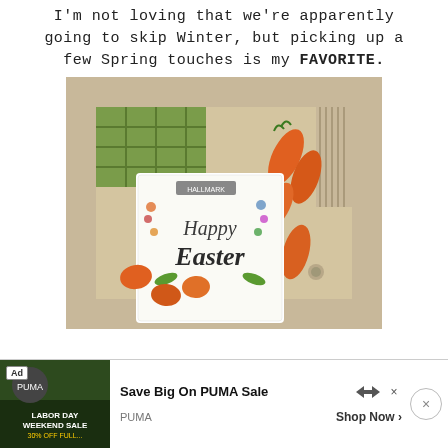I'm not loving that we're apparently going to skip Winter, but picking up a few Spring touches is my FAVORITE.
[Figure (photo): A top-down photo of Easter decorations in a box on a couch: green plaid fabric, orange carrot ornaments, and a 'Happy Easter' decorative tile with floral designs.]
[Figure (photo): Advertisement banner for PUMA Labor Day Weekend Sale with an image of athletes, an 'Ad' badge, 'Save Big On PUMA Sale' headline, PUMA branding, and 'Shop Now >' button.]